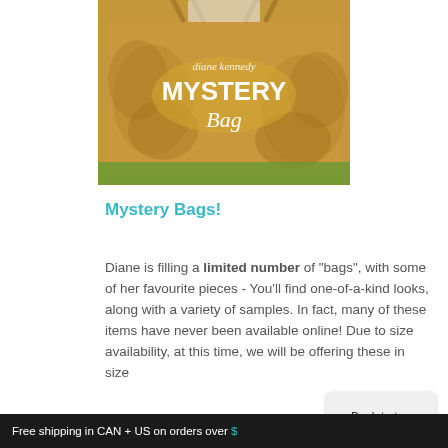[Figure (photo): A kraft paper shopping bag with 'diane kennedy MYSTERY Bag' printed on it in white text, with decorative floral patterns, held outdoors over grass.]
Mystery Bags!
Diane is filling a limited number of "bags", with some of her favourite pieces - You'll find one-of-a-kind looks, along with a variety of samples. In fact, many of these items have never been available online! Due to size availability, at this time, we will be offering these in size
Free shipping in CAN + US on orders over $